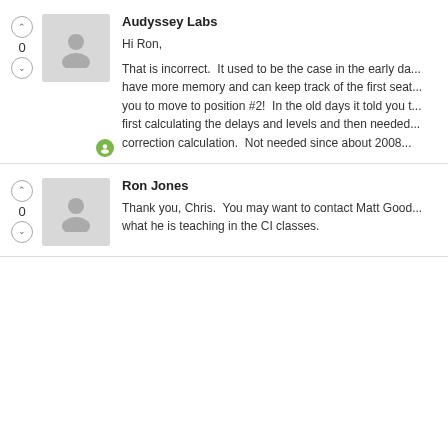Audyssey Labs
Hi Ron,

That is incorrect.  It used to be the case in the early da... have more memory and can keep track of the first seat... you to move to position #2!  In the old days it told you t... first calculating the delays and levels and then needed... correction calculation.  Not needed since about 2008...
Ron Jones
Thank you, Chris.  You may want to contact Matt Good... what he is teaching in the CI classes.